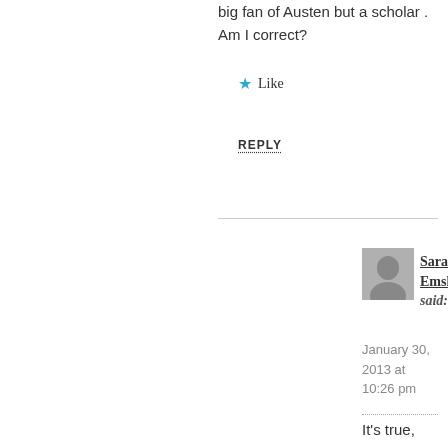big fan of Austen but a scholar . Am I correct?
Like
REPLY
Sarah Emsley said:
January 30, 2013 at 10:26 pm
It's true, I'm an academic and a fan, and happy to be both.
Like
arundhati24 said:   January 30, 2013 at 12:48 pm
I am a huge fan of pride and prejudice and I loved reading your article.
My favourite quote would have to be –